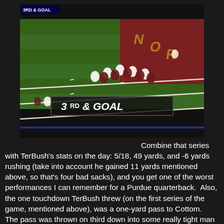[Figure (photo): Aerial/broadcast view of a college football game, showing players lined up on the field. A '3RD & GOAL' graphic is overlaid on the field. The end zone is visible with red/maroon coloring. A '3RD & GOAL' scoreboard indicator appears in the top-left corner of the image.]
Combine that series with TerBush's stats on the day: 5/18, 49 yards, and -6 yards rushing (take into account he gained 11 yards mentioned above, so that's four bad sacks), and you get one of the worst performances I can remember for a Purdue quarterback.  Also, the one touchdown TerBush threw (on the first series of the game, mentioned above), was a one-yard pass to Cottom.  The pass was thrown on third down into some really tight man coverage, and it could have easily been broken up.  TerBush should have easily noticed that Antavian Edison was standing uncovered at the line of scrimmage, as Erik already pointed out, and while winning